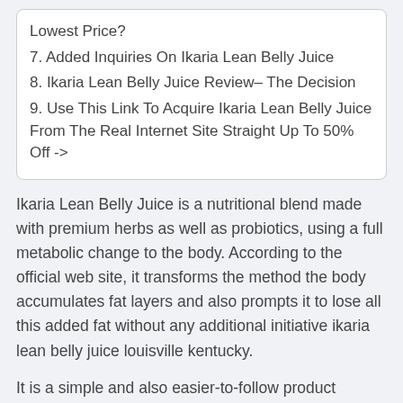Lowest Price?
7. Added Inquiries On Ikaria Lean Belly Juice
8. Ikaria Lean Belly Juice Review– The Decision
9. Use This Link To Acquire Ikaria Lean Belly Juice From The Real Internet Site Straight Up To 50% Off ->
Ikaria Lean Belly Juice is a nutritional blend made with premium herbs as well as probiotics, using a full metabolic change to the body. According to the official web site, it transforms the method the body accumulates fat layers and also prompts it to lose all this added fat without any additional initiative ikaria lean belly juice louisville kentucky.
It is a simple and also easier-to-follow product